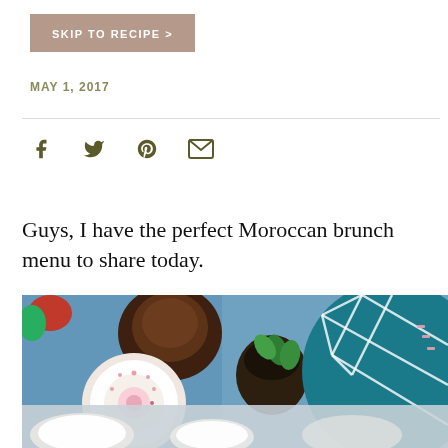SKIP TO RECIPE >
MAY 1, 2017
[Figure (infographic): Social sharing icons: Facebook, Twitter, Pinterest, Email in olive/dark green color]
Guys, I have the perfect Moroccan brunch menu to share today.
[Figure (photo): Overhead shot of a Moroccan brunch spread on a blue textile surface: strawberries, greens, dark teapot, decorative Moroccan bowl with pink pattern, glass cup with mint leaves, teal geometric patterned plate on the right. Bottom portion shows lighter overhead shot of white bowls.]